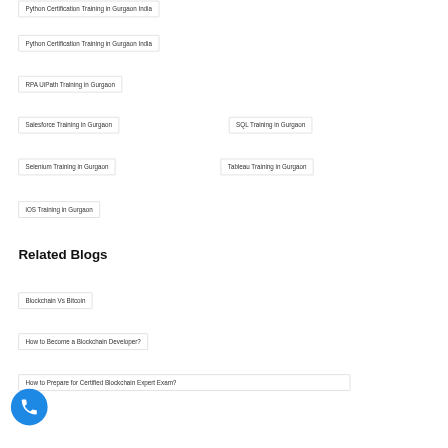Python Certification Training in Gurgaon India
Python Certification Training in Gurgaon India
RPA UiPath Training in Gurgaon
Salesforce Training in Gurgaon
SQL Training in Gurgaon
Selenium Training in Gurgaon
Tableau Training in Gurgaon
iOS Training in Gurgaon
Related Blogs
Blockchain Vs Bitcoin
How to Become a Blockchain Developer?
How to Prepare for Certified Blockchain Expert Exam?